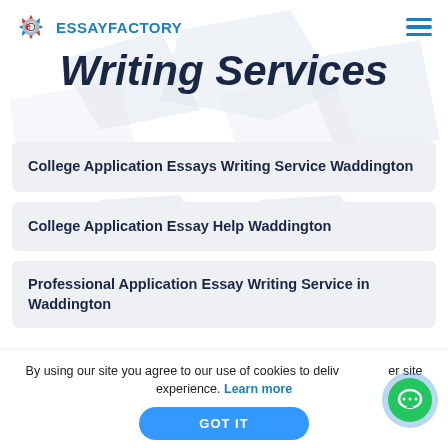ESSAYFACTORY
Writing Services
College Application Essays Writing Service Waddington
College Application Essay Help Waddington
Professional Application Essay Writing Service in Waddington
By using our site you agree to our use of cookies to deliver a better site experience. Learn more
GOT IT